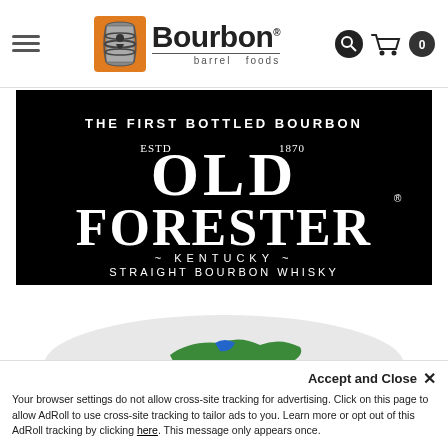[Figure (logo): Bourbon Barrel Foods logo with hamburger menu, barrel icon, text logo, search icon and cart icon in header]
[Figure (logo): Old Forester Kentucky Straight Bourbon Whisky advertisement banner - black background with white text: THE FIRST BOTTLED BOURBON, ESTD 1870, OLD FORESTER, KENTUCKY STRAIGHT BOURBON WHISKY]
[Figure (map): Partial Kentucky state map illustration in green and blue]
Accept and Close ×
Your browser settings do not allow cross-site tracking for advertising. Click on this page to allow AdRoll to use cross-site tracking to tailor ads to you. Learn more or opt out of this AdRoll tracking by clicking here. This message only appears once.